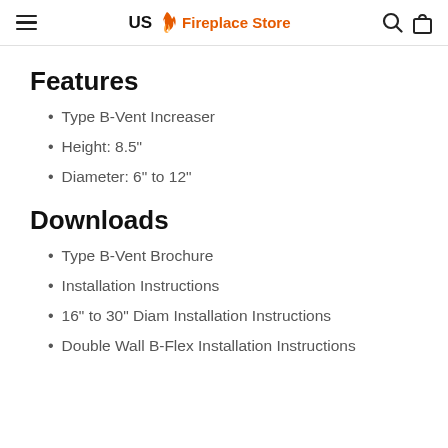US Fireplace Store
Features
Type B-Vent Increaser
Height: 8.5"
Diameter: 6" to 12"
Downloads
Type B-Vent Brochure
Installation Instructions
16" to 30" Diam Installation Instructions
Double Wall B-Flex Installation Instructions